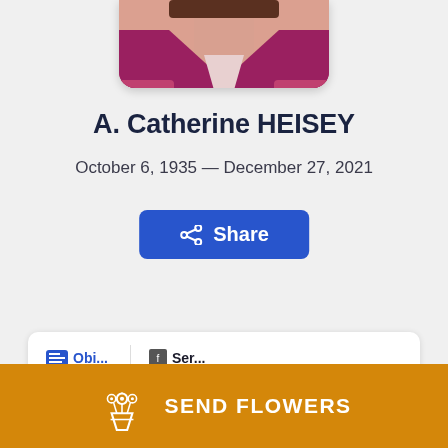[Figure (photo): Portrait photo of A. Catherine Heisey wearing a magenta/pink blazer, cropped at the top of the page]
A. Catherine HEISEY
October 6, 1935 — December 27, 2021
Share
SEND FLOWERS